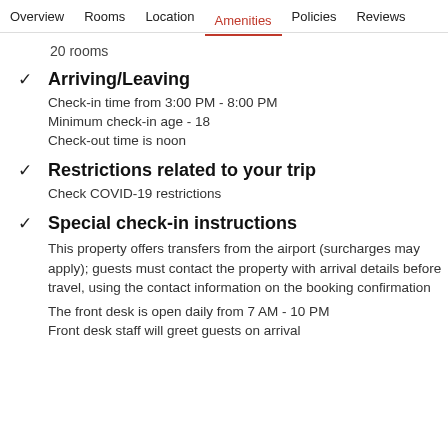Overview  Rooms  Location  Amenities  Policies  Reviews
20 rooms
Arriving/Leaving
Check-in time from 3:00 PM - 8:00 PM
Minimum check-in age - 18
Check-out time is noon
Restrictions related to your trip
Check COVID-19 restrictions
Special check-in instructions
This property offers transfers from the airport (surcharges may apply); guests must contact the property with arrival details before travel, using the contact information on the booking confirmation
The front desk is open daily from 7 AM - 10 PM
Front desk staff will greet guests on arrival